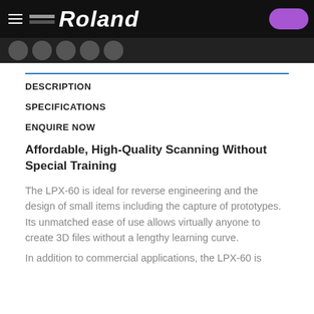[Figure (screenshot): Roland website header with black navigation bar, hamburger menu icon, Roland logo text (italic white), and purple rounded button on right]
DESCRIPTION
SPECIFICATIONS
ENQUIRE NOW
Affordable, High-Quality Scanning Without Special Training
The LPX-60 is ideal for reverse engineering and the design of small items including the capture of prototypes.
Its unmatched ease of use allows virtually anyone to create 3D files without a lengthy learning curve.
In addition to commercial applications, the LPX-60 is